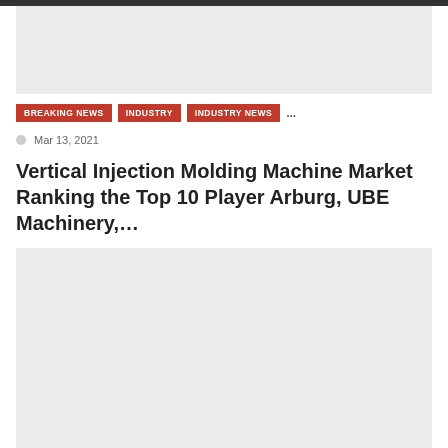[Figure (other): Top advertisement banner placeholder (light gray rectangle)]
BREAKING NEWS   INDUSTRY   INDUSTRY NEWS   ...
Mar 13, 2021
Vertical Injection Molding Machine Market Ranking the Top 10 Player Arburg, UBE Machinery,...
[Figure (other): Bottom advertisement banner placeholder (light gray rectangle)]